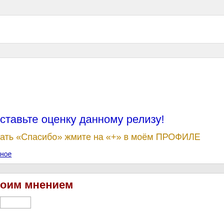ставьте оценку данному релизу!
ать «Спасибо» жмите на «+» в моём ПРОФИЛЕ
ное
оим мнением